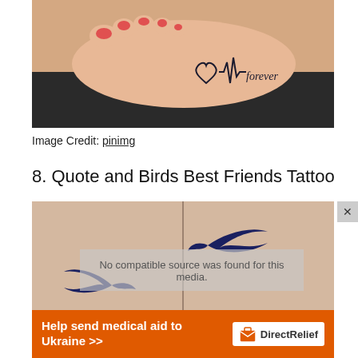[Figure (photo): Close-up photo of a foot with a tattoo that reads a heart EKG line followed by the word 'forever' in cursive script]
Image Credit: pinimg
8. Quote and Birds Best Friends Tattoo
[Figure (photo): Photo of two bird silhouette tattoos on skin, a dark blue swallow facing down-left and another swallow facing up-right, with a vertical line between them and a blurred overlay reading 'No compatible source was found for this media.']
[Figure (other): Advertisement banner: 'Help send medical aid to Ukraine >>' with Direct Relief logo on orange background]